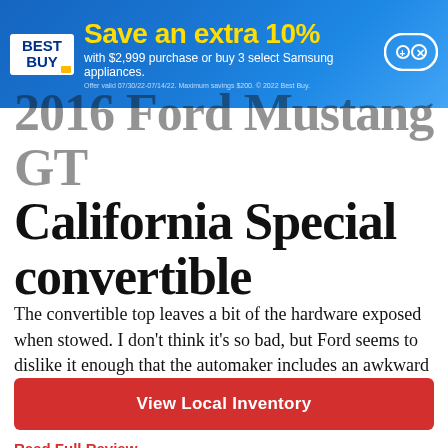[Figure (screenshot): Best Buy advertisement banner: blue gradient background with Best Buy logo, yellow headline 'Save an extra 10%' and white subtext 'with $2,999 purchase or buy 3 select Samsung appliances.' with a game controller icon top right.]
2016 Ford Mustang GT California Special convertible
The convertible top leaves a bit of the hardware exposed when stowed. I don't think it's so bad, but Ford seems to dislike it enough that the automaker includes an awkward pair of covers for the ends.
View Local Inventory
Read Full Review